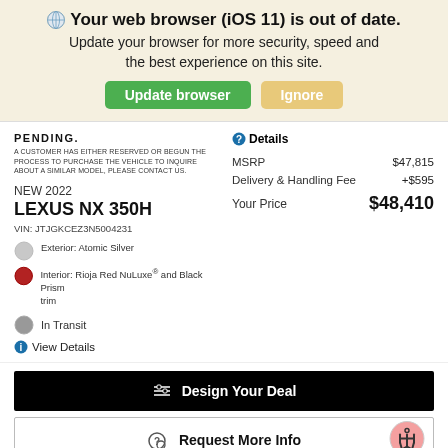🌐 Your web browser (iOS 11) is out of date. Update your browser for more security, speed and the best experience on this site.
Update browser | Ignore
PENDING.
A CUSTOMER HAS EITHER RESERVED OR BEGUN THE PROCESS TO PURCHASE THE VEHICLE TO INQUIRE ABOUT A SIMILAR MODEL, PLEASE CONTACT US.
NEW 2022
LEXUS NX 350H
VIN: JTJGKCEZ3N5004231
Exterior: Atomic Silver
Interior: Rioja Red NuLuxe® and Black Prism trim
In Transit
ⓘ View Details
|  |  |
| --- | --- |
| MSRP | $47,815 |
| Delivery & Handling Fee | +$595 |
| Your Price | $48,410 |
⚙ Design Your Deal
? Request More Info